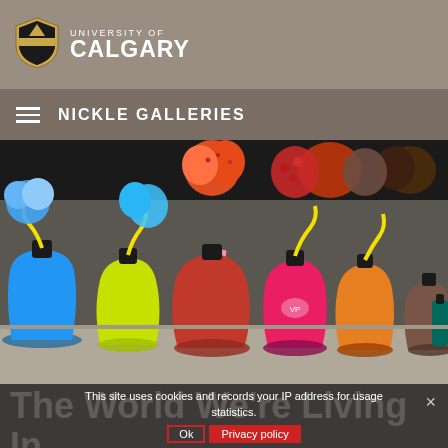University of Calgary — Nickle Galleries
[Figure (logo): University of Calgary shield logo with red, gold and black crest design, next to text 'UNIVERSITY OF CALGARY']
NICKLE GALLERIES
[Figure (photo): Art installation showing a row of colorful Erlenmeyer flasks filled with vivid liquids (blue, yellow-green, red-orange, pink/magenta, orange, brown) connected by tubes and topped with textured organic shapes on a shelf in a gallery setting.]
The World We're Living In
This site uses cookies and records your IP address for usage statistics.
Ok   Privacy policy